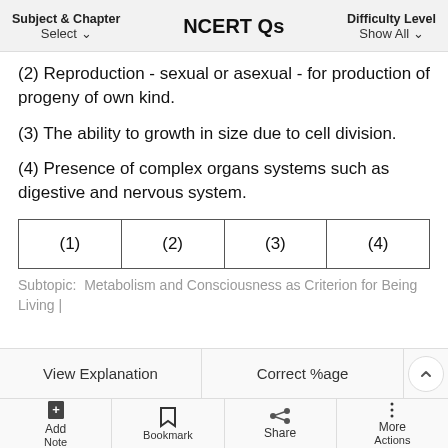Subject & Chapter Select | NCERT Qs | Difficulty Level Show All
(2) Reproduction - sexual or asexual - for production of progeny of own kind.
(3) The ability to growth in size due to cell division.
(4) Presence of complex organs systems such as digestive and nervous system.
| (1) | (2) | (3) | (4) |
Subtopic:  Metabolism and Consciousness as Criterion for Being Living |
View Explanation | Correct %age | Add Note | Bookmark | Share | More Actions